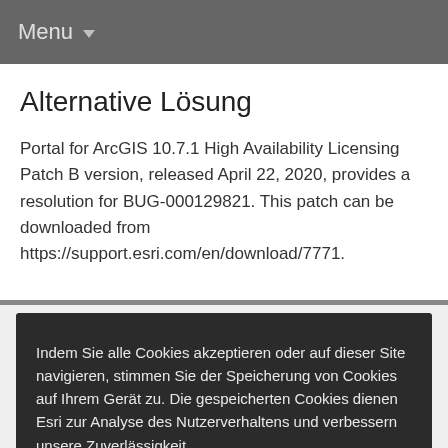Menu
Alternative Lösung
Portal for ArcGIS 10.7.1 High Availability Licensing Patch B version, released April 22, 2020, provides a resolution for BUG-000129821. This patch can be downloaded from https://support.esri.com/en/download/7771.
Indem Sie alle Cookies akzeptieren oder auf dieser Site navigieren, stimmen Sie der Speicherung von Cookies auf Ihrem Gerät zu. Die gespeicherten Cookies dienen Esri zur Analyse des Nutzerverhaltens und verbessern unsere Zuverlässigkeit.